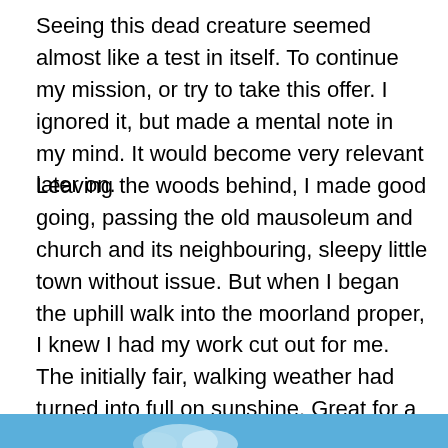Seeing this dead creature seemed almost like a test in itself. To continue my mission, or try to take this offer. I ignored it, but made a mental note in my mind. It would become very relevant later on.
Leaving the woods behind, I made good going, passing the old mausoleum and church and its neighbouring, sleepy little town without issue. But when I began the uphill walk into the moorland proper, I knew I had my work cut out for me. The initially fair, walking weather had turned into full on sunshine. Great for a lay about, not so much for making good time with the least physical exertion. I was VERY happy I had prepared for this potentiality – having a very good hat and sufficient sunscreen but I was still to get significantly burned.
[Figure (photo): Bottom strip of a photograph showing a blue sky or water scene, partially visible at the bottom of the page.]